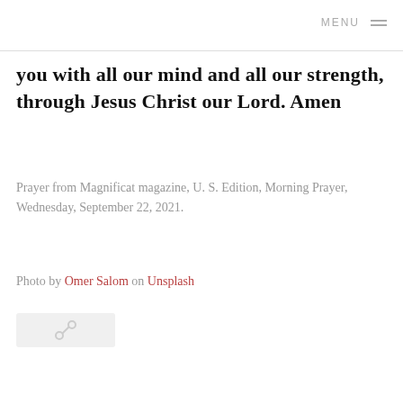MENU
you with all our mind and all our strength, through Jesus Christ our Lord. Amen
Prayer from Magnificat magazine, U. S. Edition, Morning Prayer, Wednesday, September 22, 2021.
Photo by Omer Salom on Unsplash
[Figure (other): Share button with chain-link icon on light grey background]